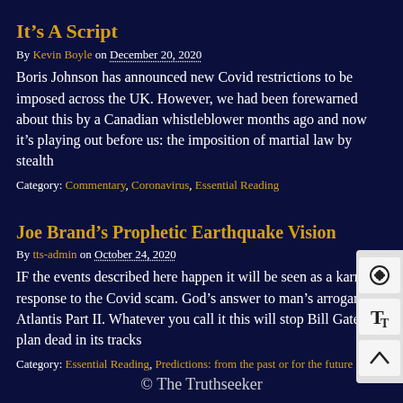It’s A Script
By Kevin Boyle on December 20, 2020
Boris Johnson has announced new Covid restrictions to be imposed across the UK. However, we had been forewarned about this by a Canadian whistleblower months ago and now it’s playing out before us: the imposition of martial law by stealth
Category: Commentary, Coronavirus, Essential Reading
Joe Brand’s Prophetic Earthquake Vision
By tts-admin on October 24, 2020
IF the events described here happen it will be seen as a karmic response to the Covid scam. God’s answer to man’s arrogance. Atlantis Part II. Whatever you call it this will stop Bill Gates plan dead in its tracks
Category: Essential Reading, Predictions: from the past or for the future
© The Truthseeker